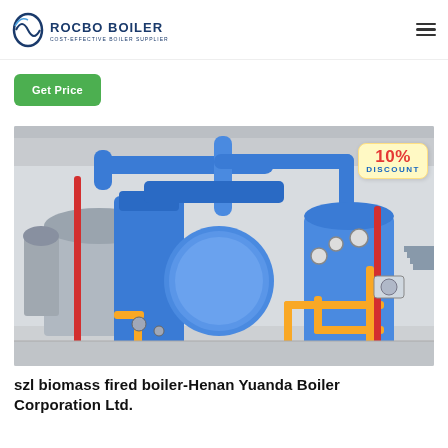ROCBO BOILER — COST-EFFECTIVE BOILER SUPPLIER
Get Price
[Figure (photo): Industrial boiler room with multiple large cylindrical boilers wrapped in blue insulation, yellow and red gas pipelines, stainless steel casing, inside a white-walled facility. A 10% DISCOUNT badge is overlaid on the upper right of the image.]
szl biomass fired boiler-Henan Yuanda Boiler Corporation Ltd.